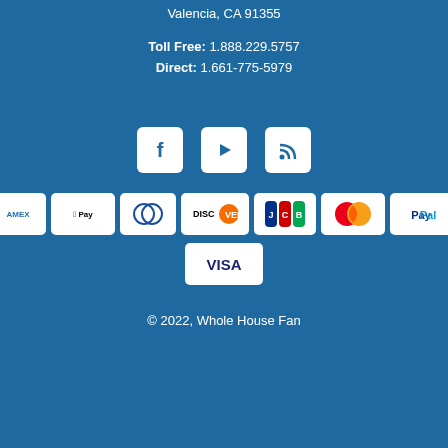Valencia, CA 91355
Toll Free: 1.888.229.5757
Direct: 1.661-775-5979
[Figure (infographic): Social media icons: Facebook, YouTube, RSS feed]
[Figure (infographic): Payment method logos: Amazon, Amex, Apple Pay, Diners, Discover, JCB, Mastercard, PayPal, Venmo, Visa]
© 2022, Whole House Fan